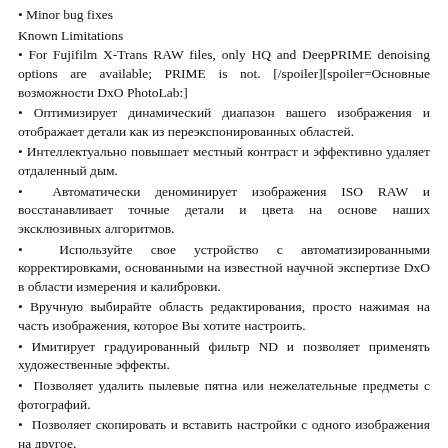• Minor bug fixes
Known Limitations
• For Fujifilm X-Trans RAW files, only HQ and DeepPRIME denoising options are available; PRIME is not. [/spoiler][spoiler=Основные возможности DxO PhotoLab:]
• Оптимизирует динамический диапазон вашего изображения и отображает детали как из переэкспонированных областей.
• Интеллектуально повышает местный контраст и эффективно удаляет отдаленный дым.
• Автоматически деноминирует изображения ISO RAW и восстанавливает точные детали и цвета на основе наших эксклюзивных алгоритмов.
• Используйте свое устройство с автоматизированными корректировками, основанными на известной научной экспертизе DxO в области измерения и калибровки.
• Вручную выбирайте область редактирования, просто нажимая на часть изображения, которое Вы хотите настроить.
• Имитирует градуированный фильтр ND и позволяет применять художественные эффекты.
• Позволяет удалить пылевые пятна или нежелательные предметы с фотографий.
• Позволяет скопировать и вставить настройки с одного изображения на другое.
• 30 встроенных пресетов, полностью настраиваемых, чтобы придать вашим фотографиям понравившийся вам вид.
• Множественный экспорт в один клик.
• Экспорт в несколько форматов для Интернета, печати или